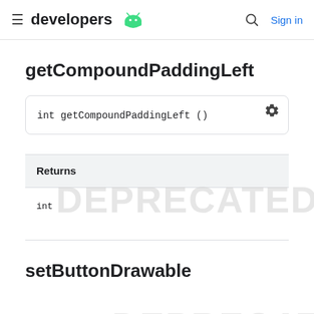≡ developers  Sign in
getCompoundPaddingLeft
| Returns |
| --- |
| int |
setButtonDrawable